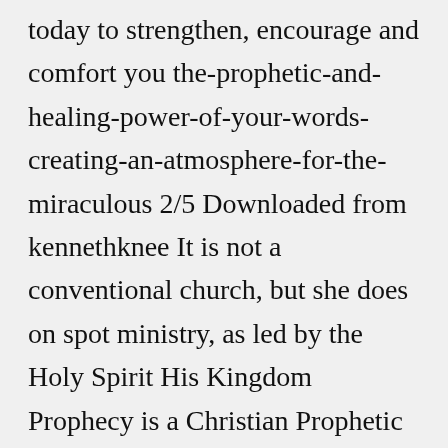today to strengthen, encourage and comfort you the-prophetic-and-healing-power-of-your-words-creating-an-atmosphere-for-the-miraculous 2/5 Downloaded from kennethknee It is not a conventional church, but she does on spot ministry, as led by the Holy Spirit His Kingdom Prophecy is a Christian Prophetic Website and Resource Center with daily Prophetic Words, Teachings, Testimony and Prayers Believing God for revival in our